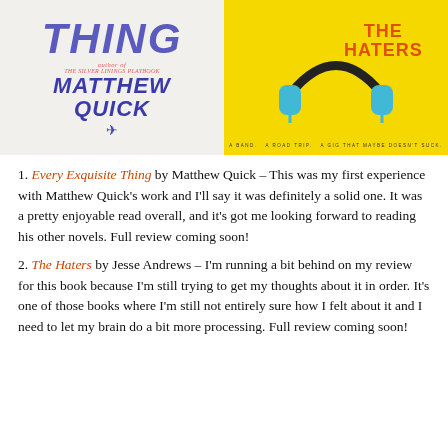[Figure (illustration): Book cover of 'Every Exquisite Thing' by Matthew Quick, with large blue/purple stylized text on light background, author noted as author of The Silver Linings Playbook]
[Figure (illustration): Book cover of 'The Haters' on bright yellow background with blue headphones graphic and orange title text. Tagline: A BAND. A ROAD TRIP. A GIG THAT MAYBE DOESN'T SUCK.]
1. Every Exquisite Thing by Matthew Quick – This was my first experience with Matthew Quick's work and I'll say it was definitely a solid one. It was a pretty enjoyable read overall, and it's got me looking forward to reading his other novels. Full review coming soon!
2. The Haters by Jesse Andrews – I'm running a bit behind on my review for this book because I'm still trying to get my thoughts about it in order. It's one of those books where I'm still not entirely sure how I felt about it and I need to let my brain do a bit more processing. Full review coming soon!